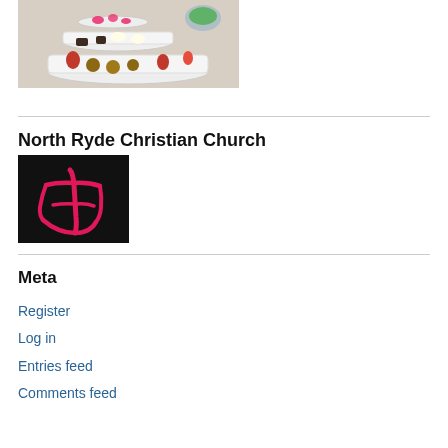[Figure (photo): Photo of assorted food items including pastries, strawberries, and small desserts arranged on tiered white platters on a lace tablecloth]
North Ryde Christian Church
[Figure (logo): North Ryde Christian Church logo: black square with red brush-stroke cross/church symbol]
Meta
Register
Log in
Entries feed
Comments feed